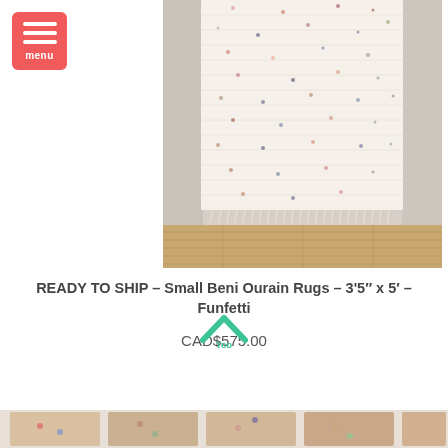[Figure (photo): Menu button with three white horizontal bars and 'menu' label on coral/red background, top left corner]
[Figure (photo): Cream/off-white Beni Ourain rug with small colorful dot pattern hanging and laying on wooden floor against white brick wall, with fringe at bottom]
READY TO SHIP – Small Beni Ourain Rugs – 3'5″ x 5′ – Funfetti
CAD$575.00
[Figure (other): Green upward chevron/arrow 'Top' button overlaid on price area]
[Figure (photo): Bottom strip showing partial product thumbnails in warm tones]